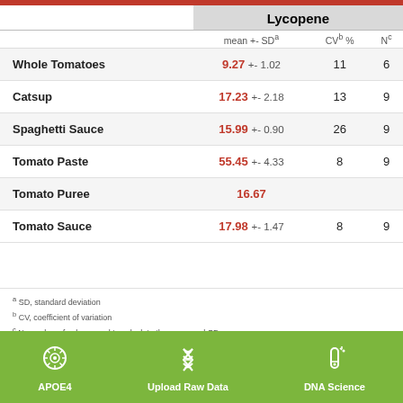|  | mean +- SDᵃ | CVᵇ % | Nᶜ |
| --- | --- | --- | --- |
| Whole Tomatoes | 9.27 +- 1.02 | 11 | 6 |
| Catsup | 17.23 +- 2.18 | 13 | 9 |
| Spaghetti Sauce | 15.99 +- 0.90 | 26 | 9 |
| Tomato Paste | 55.45 +- 4.33 | 8 | 9 |
| Tomato Puree | 16.67 |  |  |
| Tomato Sauce | 17.98 +- 1.47 | 8 | 9 |
a SD, standard deviation
b CV, coefficient of variation
c N, number of values used to calculate the mean and SD
Carotenoid Content of Thermally Processed Tomato-Based Food Products
Linda H. Tonucci, Joanne M. Holden, Gary R. Beecher, Frederick
[Figure (infographic): Green navigation bar with three icons: APOE4 (brain/circuit icon), Upload Raw Data (DNA helix icon), DNA Science (test tube icon)]